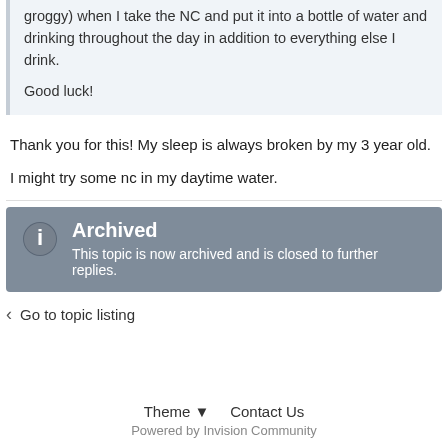groggy) when I take the NC and put it into a bottle of water and drinking throughout the day in addition to everything else I drink.

Good luck!
Thank you for this! My sleep is always broken by my 3 year old.
I might try some nc in my daytime water.
Archived
This topic is now archived and is closed to further replies.
Go to topic listing
Theme ▾   Contact Us
Powered by Invision Community